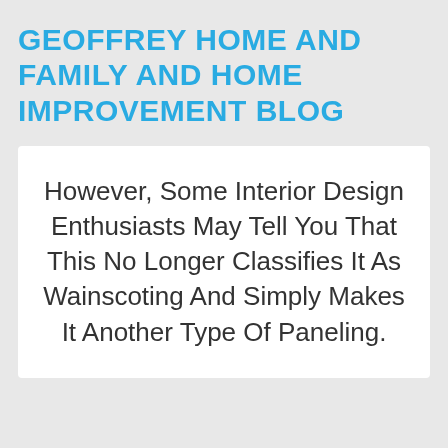GEOFFREY HOME AND FAMILY AND HOME IMPROVEMENT BLOG
However, Some Interior Design Enthusiasts May Tell You That This No Longer Classifies It As Wainscoting And Simply Makes It Another Type Of Paneling.